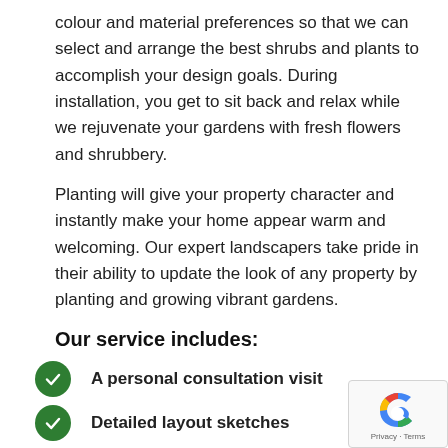colour and material preferences so that we can select and arrange the best shrubs and plants to accomplish your design goals. During installation, you get to sit back and relax while we rejuvenate your gardens with fresh flowers and shrubbery.
Planting will give your property character and instantly make your home appear warm and welcoming. Our expert landscapers take pride in their ability to update the look of any property by planting and growing vibrant gardens.
Our service includes:
A personal consultation visit
Detailed layout sketches